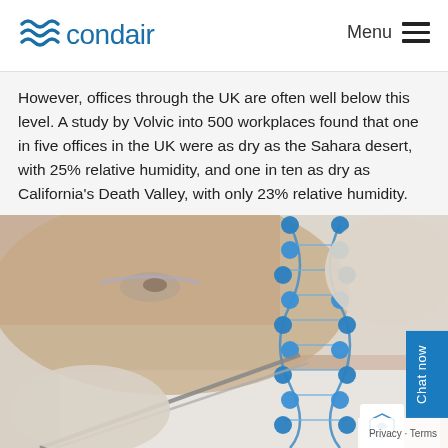condair Menu
However, offices through the UK are often well below this level. A study by Volvic into 500 workplaces found that one in five offices in the UK were as dry as the Sahara desert, with 25% relative humidity, and one in ten as dry as California’s Death Valley, with only 23% relative humidity.
[Figure (photo): A scientist or lab technician wearing gloves and safety glasses, examining a blue DNA double helix model with tweezers/forceps close up.]